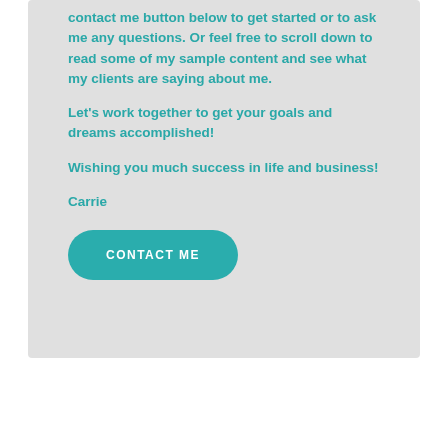contact me button below to get started or to ask me any questions. Or feel free to scroll down to read some of my sample content and see what my clients are saying about me.

Let's work together to get your goals and dreams accomplished!

Wishing you much success in life and business!

Carrie
CONTACT ME